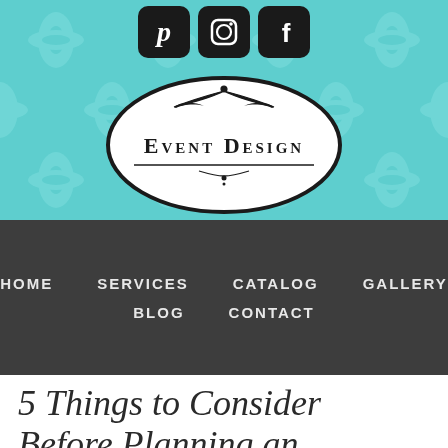[Figure (screenshot): Teal damask patterned header banner with Pinterest, Instagram, and Facebook social media icons (black rounded square icons) at the top center, and an oval logo in the center reading 'Event Design' with ornamental flourishes]
HOME   SERVICES   CATALOG   GALLERY   BLOG   CONTACT
5 Things to Consider Before Planning an Outdoor Wedding